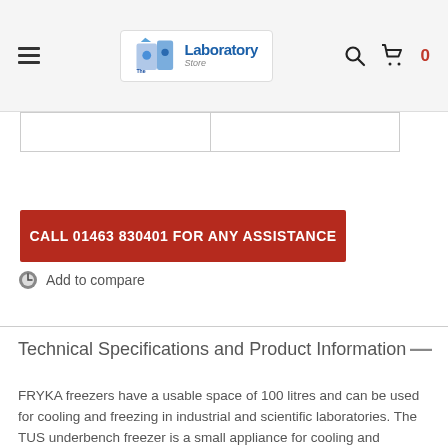The Laboratory Store — navigation bar with hamburger menu, logo, search icon, cart icon, 0
|  |  |
CALL 01463 830401 FOR ANY ASSISTANCE
Add to compare
Technical Specifications and Product Information
FRYKA freezers have a usable space of 100 litres and can be used for cooling and freezing in industrial and scientific laboratories. The TUS underbench freezer is a small appliance for cooling and freezing for use in all laboratories, research and industry. Particularly due its compact, space-saving design with low noise cooling unit, the underbench freezer is suitable